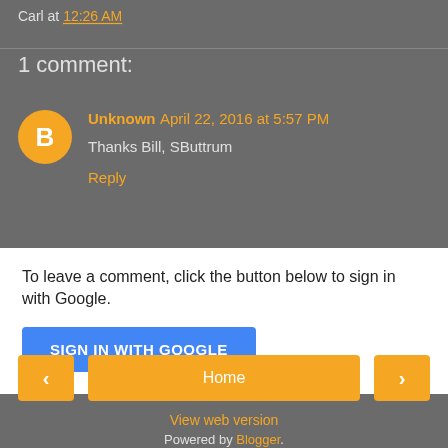Carl at 12:26 AM
1 comment:
Unknown April 22, 2016 at 5:57 PM
Thanks Bill, SButtrum
Reply
To leave a comment, click the button below to sign in with Google.
SIGN IN WITH GOOGLE
< Home >
View web version
Powered by Blogger.